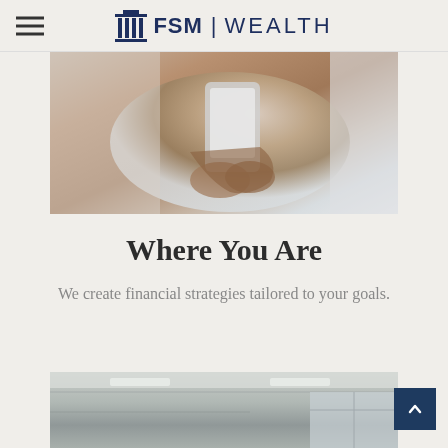FSM | WEALTH
[Figure (photo): Close-up photo of a person holding a smartphone/tablet, with a blurred light background]
Where You Are
We create financial strategies tailored to your goals.
[Figure (photo): Bottom portion of a photo showing an interior office/meeting room space with ceiling lights]